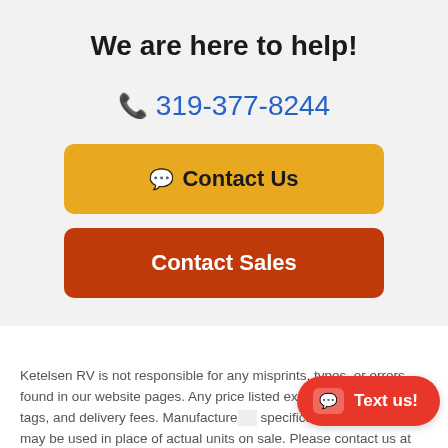We are here to help!
319-377-8244
Contact Us
Contact Sales
Ketelsen RV is not responsible for any misprints, typos, or errors found in our website pages. Any price listed exclu... registration tags, and delivery fees. Manufacture... specifications, and features may be used in place of actual units on sale. Please contact us at 319-377-8244 for availability.
Text us!